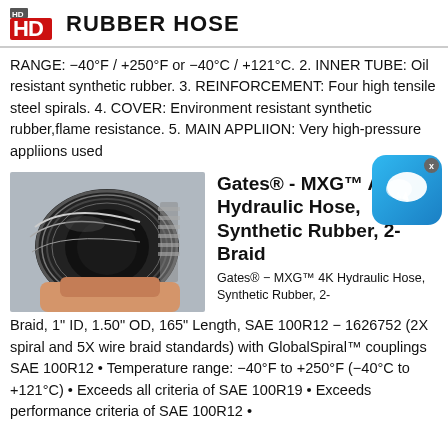HD RUBBER HOSE
RANGE: -40°F / +250°F or -40°C / +121°C. 2. INNER TUBE: Oil resistant synthetic rubber. 3. REINFORCEMENT: Four high tensile steel spirals. 4. COVER: Environment resistant synthetic rubber,flame resistance. 5. MAIN APPLIION: Very high-pressure appliions used
[Figure (photo): Close-up photo of a black rubber hydraulic hose end, showing braid reinforcement, held by a hand]
Gates® - MXG™ A Hydraulic Hose, Synthetic Rubber, 2-Braid
Gates® - MXG™ 4K Hydraulic Hose, Synthetic Rubber, 2-Braid, 1" ID, 1.50" OD, 165" Length, SAE 100R12 - 1626752 (2X spiral and 5X wire braid standards) with GlobalSpiral™ couplings SAE 100R12 • Temperature range: −40°F to +250°F (−40°C to +121°C) • Exceeds all criteria of SAE 100R19 • Exceeds performance criteria of SAE 100R12 •